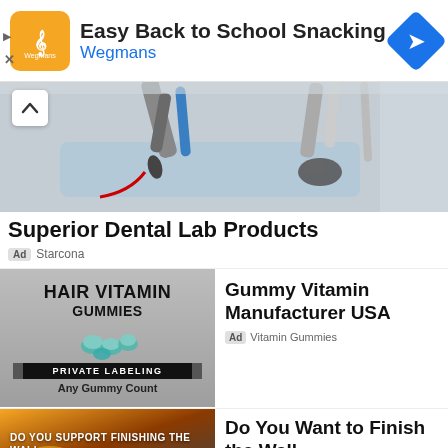[Figure (screenshot): Top advertisement banner for Wegmans: Easy Back to School Snacking with Wegmans logo and navigation arrow icon]
[Figure (photo): Dental lab equipment photo showing robotic/mechanical arms over a light blue tray with a computer mouse]
Superior Dental Lab Products
Ad Starcona
[Figure (photo): Advertisement image for Hair Vitamin Gummies showing teal gummies, Private Labeling text, Any Gummy Count]
Gummy Vitamin Manufacturer USA
Ad Vitamin Gummies
[Figure (photo): Advertisement image with sunset/wall background and text DO YOU SUPPORT FINISHING THE WALL]
Do You Want to Finish the Wall